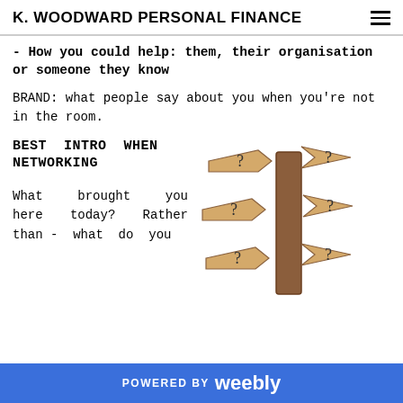K. WOODWARD PERSONAL FINANCE
- How you could help: them, their organisation or someone they know
BRAND: what people say about you when you're not in the room.
BEST INTRO WHEN NETWORKING
What brought you here today? Rather than - what do you
[Figure (illustration): A wooden signpost with multiple directional arrow signs each containing a question mark, pointing in different directions.]
POWERED BY weebly